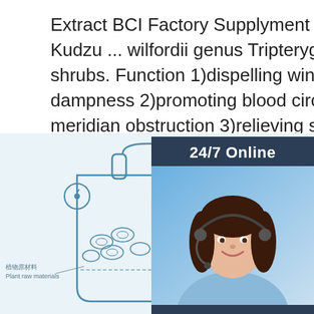Extract BCI Factory Supplyment High Purity Micro Soluble Kudzu ... wilfordii genus Tripterygium wilfordii root, vine shrubs. Function 1)dispelling wind and eliminating dampness 2)promoting blood circulation to remove meridian obstruction 3)relieving swelling and pain 4)killing Worms & d... 5)used in wind-cold-dampness arthralgia 6 ...
Get Price
24/7 Online
[Figure (photo): Customer service representative woman with headset smiling, used as chat support widget sidebar image]
Click here for free chat！
QUOTATION
[Figure (engineering-diagram): Industrial distillation diagram with Chinese and English labels: 冷却管 Cooling pipe, 散热管 Radiator tube, 植物原材料 Plant raw materials, 精油 essential oil, TOP logo with orange dots]